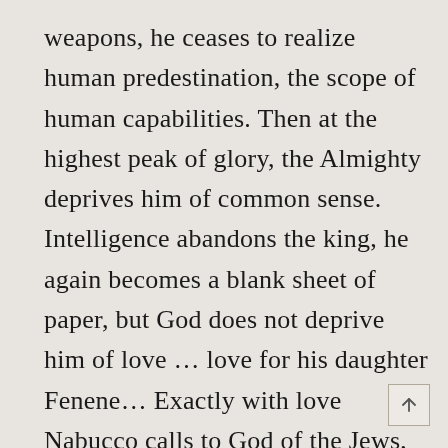weapons, he ceases to realize human predestination, the scope of human capabilities. Then at the highest peak of glory, the Almighty deprives him of common sense. Intelligence abandons the king, he again becomes a blank sheet of paper, but God does not deprive him of love … love for his daughter Fenene… Exactly with love Nabucco calls to God of the Jews, asking for the salvation of loving daughter and with love recognizing the power of the Creator over himself and over the world. The Temple will be saved by his love… The Earth Temple will be saved by human repentance…